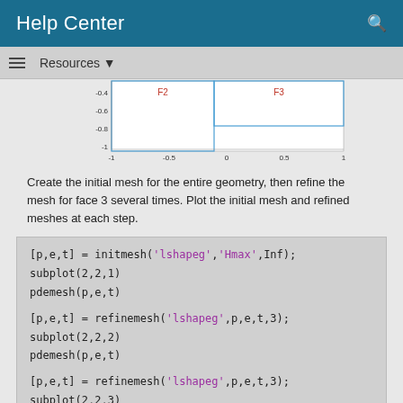Help Center
Resources
[Figure (continuous-plot): Partial view of a 2D geometry plot showing faces F2 and F3 labeled in red, with axes from -1 to 1, and blue rectangular outlines on a white background. Y-axis values visible: -0.4, -0.6, -0.8, -1. X-axis values visible: -1, -0.5, 0, 0.5, 1.]
Create the initial mesh for the entire geometry, then refine the mesh for face 3 several times. Plot the initial mesh and refined meshes at each step.
[p,e,t] = initmesh('lshapeg','Hmax',Inf);
subplot(2,2,1)
pdemesh(p,e,t)

[p,e,t] = refinemesh('lshapeg',p,e,t,3);
subplot(2,2,2)
pdemesh(p,e,t)

[p,e,t] = refinemesh('lshapeg',p,e,t,3);
subplot(2,2,3)